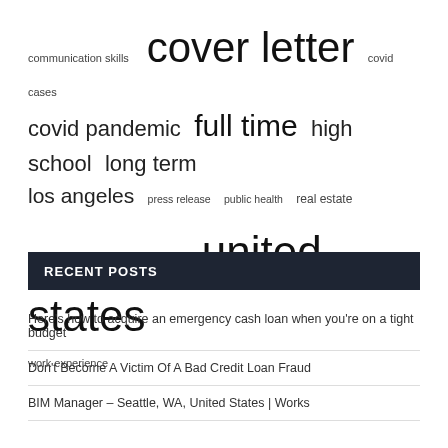[Figure (infographic): Tag cloud with terms of varying sizes: communication skills, cover letter (largest), covid cases, covid pandemic, full time, high school, long term, los angeles, press release, public health, real estate, resume writing, short term, united states (very large), work experience]
RECENT POSTS
Here's how to acquire an emergency cash loan when you're on a tight budget
Don't Become A Victim Of A Bad Credit Loan Fraud
BIM Manager – Seattle, WA, United States | Works